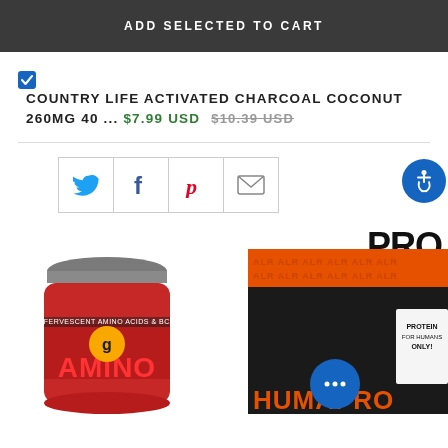ADD SELECTED TO CART
COUNTRY LIFE ACTIVATED CHARCOAL COCONUT 260MG 40 ...  $7.99 USD  $10.39 USD
[Figure (screenshot): Social sharing icons row: Twitter (blue bird), Facebook (f), Pinterest (P), Email (envelope), and accessibility icon button (blue circle with wheelchair symbol)]
PRO
[Figure (photo): Two product supplement containers: BSN Amino (red jar with yellow logo) on left, ALR HUMAPRO (black container with orange branding) on right. A blue chat bubble with ellipsis is overlaid between them.]